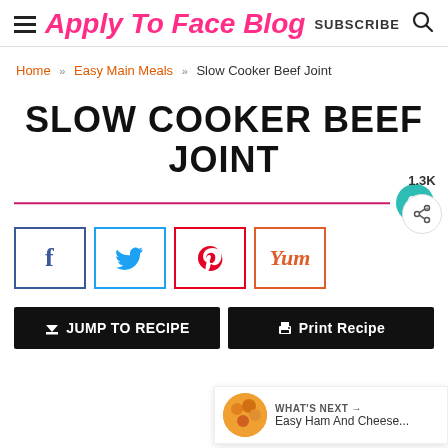Apply To Face Blog — SUBSCRIBE
Home » Easy Main Meals » Slow Cooker Beef Joint
SLOW COOKER BEEF JOINT
[Figure (infographic): Social share buttons: Facebook, Twitter, Pinterest, Yummly; heart save button with teal circle; share count 1.3K]
JUMP TO RECIPE   Print Recipe
WHAT'S NEXT → Easy Ham And Cheese...